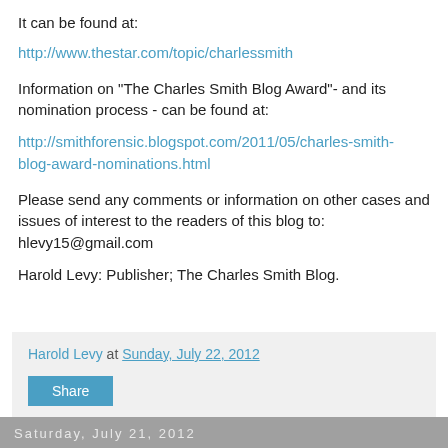It can be found at:
http://www.thestar.com/topic/charlessmith
Information on "The Charles Smith Blog Award"- and its nomination process - can be found at:
http://smithforensic.blogspot.com/2011/05/charles-smith-blog-award-nominations.html
Please send any comments or information on other cases and issues of interest to the readers of this blog to: hlevy15@gmail.com
Harold Levy: Publisher; The Charles Smith Blog.
Harold Levy at Sunday, July 22, 2012
Share
Saturday, July 21, 2012